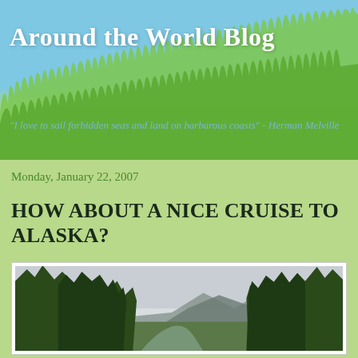Around the World Blog
"I love to sail forbidden seas and land on barbarous coasts" - Herman Melville
Monday, January 22, 2007
HOW ABOUT A NICE CRUISE TO ALASKA?
[Figure (photo): Scenic Alaska landscape with tall evergreen trees on either side of a road/river valley, mountains visible in the background under an overcast sky]